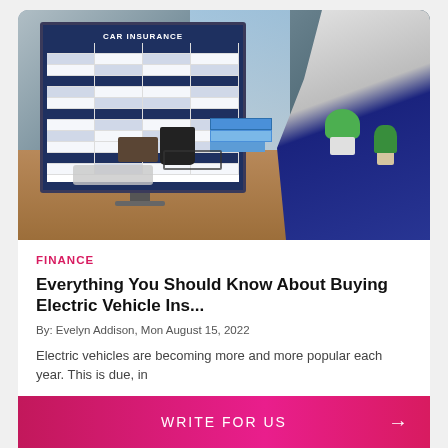[Figure (photo): Person in suit sitting at a desk using a computer displaying a car insurance form. Books, coffee mug, glasses, and plants visible on the desk.]
FINANCE
Everything You Should Know About Buying Electric Vehicle Ins...
By: Evelyn Addison, Mon August 15, 2022
Electric vehicles are becoming more and more popular each year. This is due, in
WRITE FOR US